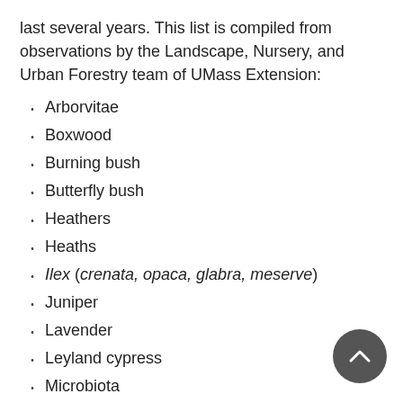last several years. This list is compiled from observations by the Landscape, Nursery, and Urban Forestry team of UMass Extension:
Arborvitae
Boxwood
Burning bush
Butterfly bush
Heathers
Heaths
Ilex (crenata, opaca, glabra, meserve)
Juniper
Lavender
Leyland cypress
Microbiota
Oakleaf hydrangea
Perennials - many species, especially silver and gray